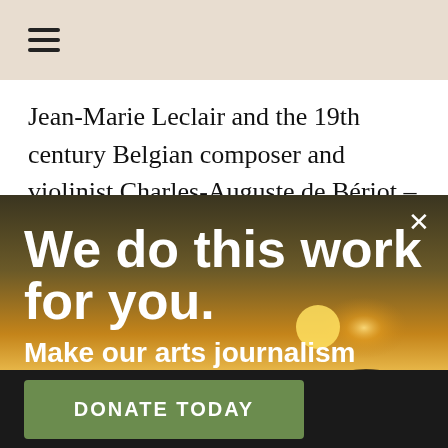[Figure (screenshot): Hamburger menu icon (three horizontal lines) on a beige/tan background navigation bar]
Jean-Marie Leclair and the 19th century Belgian composer and violinist Charles-Auguste de Bériot – two composers who knew the possibilities of the violin
[Figure (photo): Sunset landscape photo with silhouette of coastal cliffs and vegetation, dark foreground, warm golden sky]
We do this work for you.
Make our arts journalism possible.
DONATE TODAY